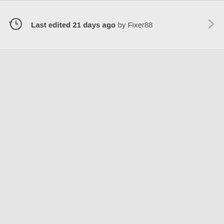Last edited 21 days ago by Fixer88